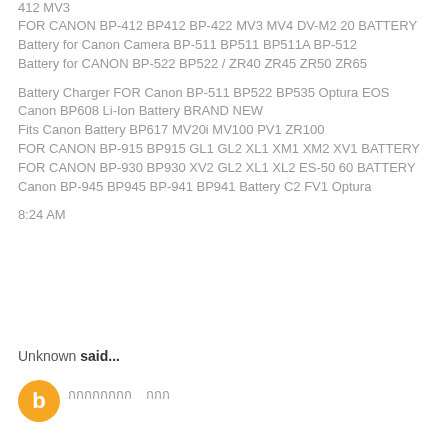412 MV3
FOR CANON BP-412 BP412 BP-422 MV3 MV4 DV-M2 20 BATTERY
Battery for Canon Camera BP-511 BP511 BP511A BP-512
Battery for CANON BP-522 BP522 / ZR40 ZR45 ZR50 ZR65
Battery Charger FOR Canon BP-511 BP522 BP535 Optura EOS
Canon BP608 Li-Ion Battery BRAND NEW
Fits Canon Battery BP617 MV20i MV100 PV1 ZR100
FOR CANON BP-915 BP915 GL1 GL2 XL1 XM1 XM2 XV1 BATTERY
FOR CANON BP-930 BP930 XV2 GL2 XL1 XL2 ES-50 60 BATTERY
Canon BP-945 BP945 BP-941 BP941 Battery C2 FV1 Optura
8:24 AM
Unknown said...
กกกกกกกก    กกก